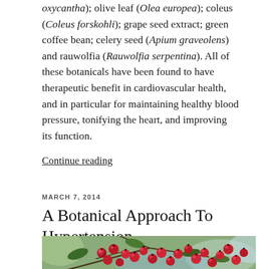oxycantha); olive leaf (Olea europea); coleus (Coleus forskohli); grape seed extract; green coffee bean; celery seed (Apium graveolens) and rauwolfia (Rauwolfia serpentina). All of these botanicals have been found to have therapeutic benefit in cardiovascular health, and in particular for maintaining healthy blood pressure, tonifying the heart, and improving its function.
Continue reading
MARCH 7, 2014
A Botanical Approach To Hypertension
[Figure (photo): Close-up photograph of red hawthorn berries on branches with green leaves against a blurred background]